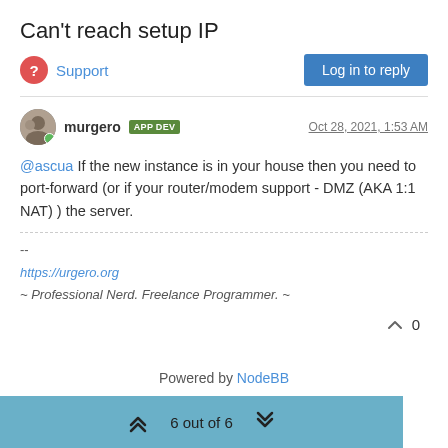Can't reach setup IP
Support
Log in to reply
murgero  APP DEV   Oct 28, 2021, 1:53 AM
@ascua If the new instance is in your house then you need to port-forward (or if your router/modem support - DMZ (AKA 1:1 NAT) ) the server.
--
https://urgero.org
~ Professional Nerd. Freelance Programmer. ~
0
Powered by NodeBB
6 out of 6